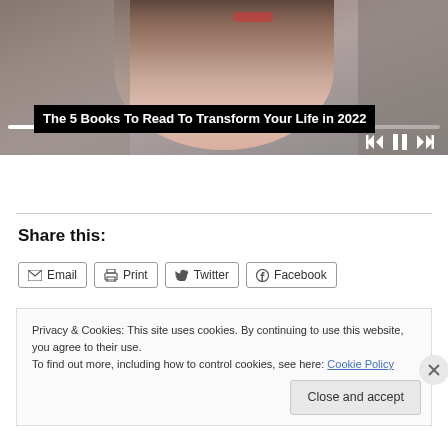[Figure (screenshot): Video player screenshot showing a woman with dark hair and red lips, with a progress bar and media control icons (skip back, pause, skip forward) in white on a dark overlay. A progress bar is shown near the bottom of the video.]
The 5 Books To Read To Transform Your Life in 2022
Share this:
Email  Print  Twitter  Facebook
Privacy & Cookies: This site uses cookies. By continuing to use this website, you agree to their use.
To find out more, including how to control cookies, see here: Cookie Policy
Close and accept